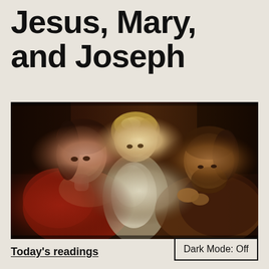Jesus, Mary, and Joseph
[Figure (photo): Classical oil painting of the Holy Family: Mary on the left in red dress, infant Jesus in the center with curly blond hair dressed in white cloth, and Joseph on the right leaning in close, appearing to work on something small held in his hands. Dark, warm-toned Baroque-style painting.]
Today's readings
Dark Mode: Off